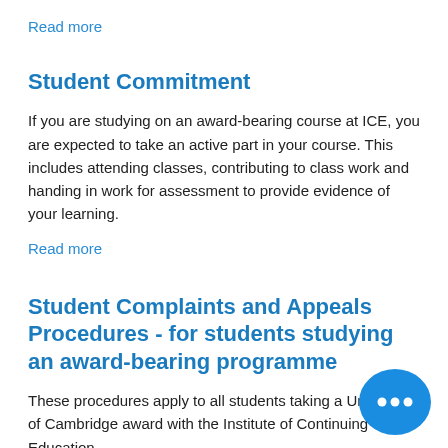Read more
Student Commitment
If you are studying on an award-bearing course at ICE, you are expected to take an active part in your course. This includes attending classes, contributing to class work and handing in work for assessment to provide evidence of your learning.
Read more
Student Complaints and Appeals Procedures - for students studying an award-bearing programme
These procedures apply to all students taking a University of Cambridge award with the Institute of Continuing Education.
Read more
[Figure (illustration): Blue speech bubble chat icon with three dots inside, positioned at bottom right corner of the page.]